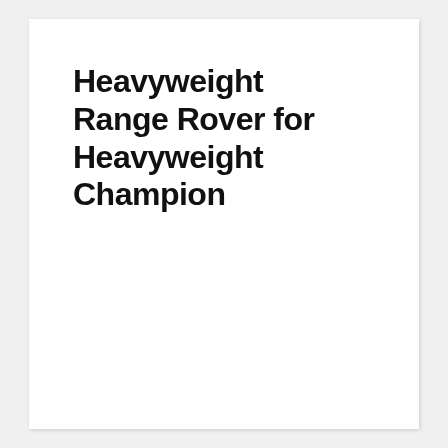Heavyweight Range Rover for Heavyweight Champion